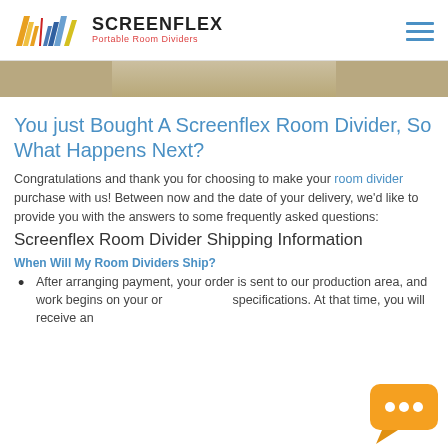SCREENFLEX Portable Room Dividers
[Figure (photo): Partial hero image showing a room divider, cropped at top]
You just Bought A Screenflex Room Divider, So What Happens Next?
Congratulations and thank you for choosing to make your room divider purchase with us! Between now and the date of your delivery, we'd like to provide you with the answers to some frequently asked questions:
Screenflex Room Divider Shipping Information
When Will My Room Dividers Ship?
After arranging payment, your order is sent to our production area, and work begins on your order specifications. At that time, you will receive an